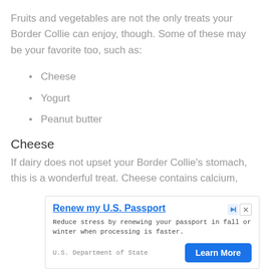Fruits and vegetables are not the only treats your Border Collie can enjoy, though. Some of these may be your favorite too, such as:
Cheese
Yogurt
Peanut butter
Cheese
If dairy does not upset your Border Collie's stomach, this is a wonderful treat. Cheese contains calcium,
[Figure (screenshot): Advertisement banner: 'Renew my U.S. Passport' from U.S. Department of State with 'Learn More' button. Text: Reduce stress by renewing your passport in fall or winter when processing is faster.]